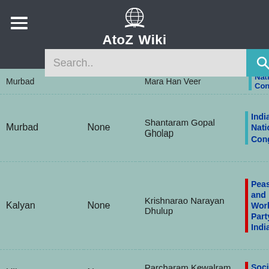AtoZ Wiki
| Constituency | Reserved | MLA | Party |
| --- | --- | --- | --- |
| Murbad | None | Shantaram Gopal Gholap | Indian National Congress |
| Kalyan | None | Krishnarao Narayan Dhulup | Peasants and Workers Party of India |
| Ulhasnagar | None | Parcharam Kewalram Ailani (alias Vidyarthi) | Socialist Party |